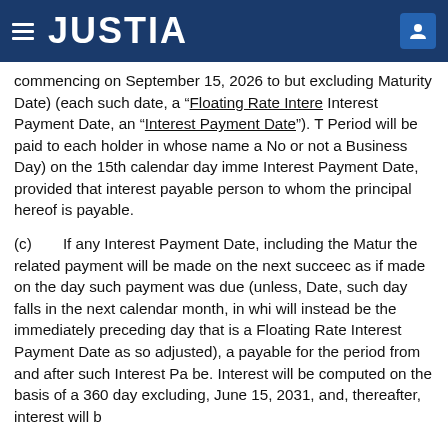JUSTIA
commencing on September 15, 2026 to but excluding Maturity Date) (each such date, a “Floating Rate Interest Interest Payment Date, an “Interest Payment Date”). T Period will be paid to each holder in whose name a No or not a Business Day) on the 15th calendar day imme Interest Payment Date, provided that interest payable person to whom the principal hereof is payable.
(c)    If any Interest Payment Date, including the Matur the related payment will be made on the next succeec as if made on the day such payment was due (unless, Date, such day falls in the next calendar month, in whi will instead be the immediately preceding day that is a Floating Rate Interest Payment Date as so adjusted), a payable for the period from and after such Interest Pa be. Interest will be computed on the basis of a 360 day excluding, June 15, 2031, and, thereafter, interest will b